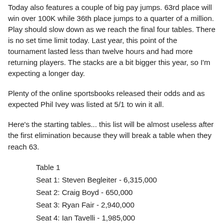Today also features a couple of big pay jumps. 63rd place will win over 100K while 36th place jumps to a quarter of a million. Play should slow down as we reach the final four tables. There is no set time limit today. Last year, this point of the tournament lasted less than twelve hours and had more returning players. The stacks are a bit bigger this year, so I'm expecting a longer day.
Plenty of the online sportsbooks released their odds and as expected Phil Ivey was listed at 5/1 to win it all.
Here's the starting tables... this list will be almost useless after the first elimination because they will break a table when they reach 63.
Table 1
Seat 1: Steven Begleiter - 6,315,000
Seat 2: Craig Boyd - 650,000
Seat 3: Ryan Fair - 2,940,000
Seat 4: Ian Tavelli - 1,985,000
Seat 5: James Akenhead - 1,655,000